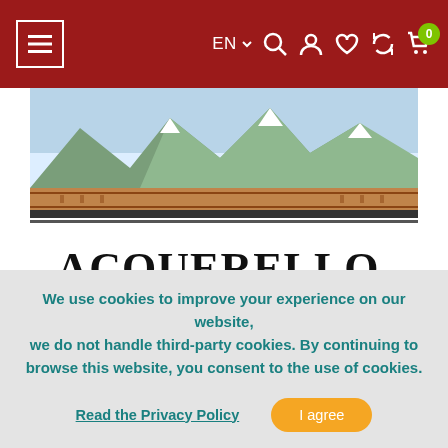EN navigation bar with menu, search, user, wishlist, compare, cart icons
[Figure (photo): Close-up photo of an Acquerello IL RISO rice product bottle/container with a white label showing the brand name ACQUERELLO and text IL RISO, with a mountain landscape image at the top of the label and rice grains visible through the transparent container bottom.]
We use cookies to improve your experience on our website, we do not handle third-party cookies. By continuing to browse this website, you consent to the use of cookies.
Read the Privacy Policy
I agree